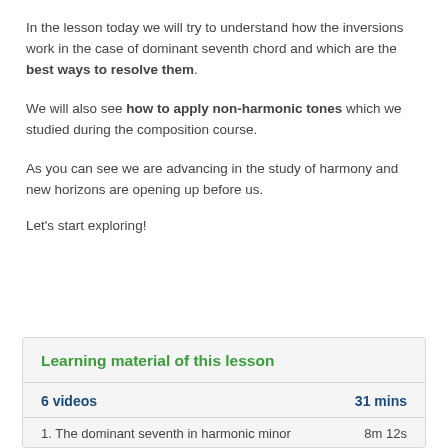In the lesson today we will try to understand how the inversions work in the case of dominant seventh chord and which are the best ways to resolve them.
We will also see how to apply non-harmonic tones which we studied during the composition course.
As you can see we are advancing in the study of harmony and new horizons are opening up before us.
Let's start exploring!
Learning material of this lesson
| 6 videos | 31 mins |
| --- | --- |
| 1. The dominant seventh in harmonic minor | 8m 12s |